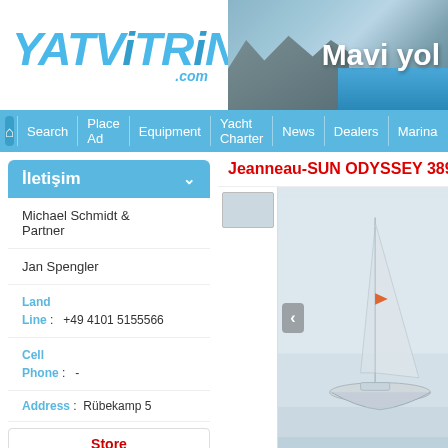[Figure (logo): YATViTRiNi.com logo in blue italic bold text]
[Figure (photo): Banner photo of rocky coastline and blue sea with text 'Mavi yol']
Search | Place Ad | Equipment | Yacht Charter | News | Dealers | Marina
İletişim
Michael Schmidt & Partner
Jan Spengler
Land Line : +49 4101 5155566
Cell Phone : -
Address : Rübekamp 5
Store
Jeanneau-SUN ODYSSEY 389
[Figure (photo): Sailboat (Jeanneau Sun Odyssey 389) on water, light hazy conditions]